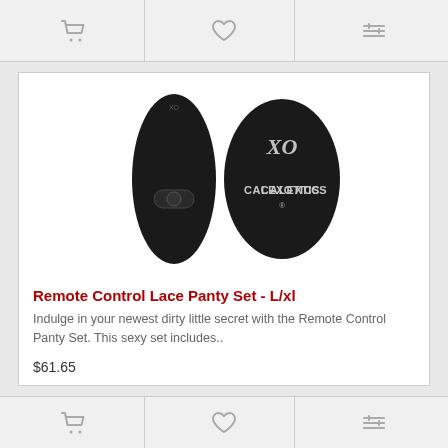[Figure (screenshot): Top navigation bar with cart, heart/wishlist, and compare icons]
[Figure (photo): Product photo showing two black oval-shaped vibrator devices from CalExotics brand — one elongated with a power button and one rounder remote control with CalExotics logo]
Remote Control Lace Panty Set - L/xl
Indulge in your newest dirty little secret with the Remote Control Panty Set. This sexy set includes..
$61.65
[Figure (screenshot): Bottom navigation bar with cart, heart/wishlist, and compare icons]